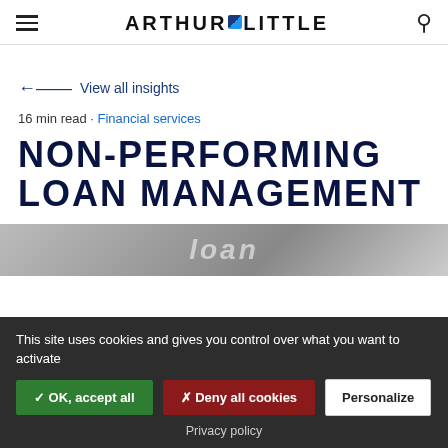ARTHUR D LITTLE (logo with hamburger menu and search icon)
← View all insights
16 min read · Financial services
NON-PERFORMING LOAN MANAGEMENT
[Figure (photo): Partial photo of a document with the word 'loan' visible in italic text]
This site uses cookies and gives you control over what you want to activate
✓ OK, accept all | ✗ Deny all cookies | Personalize
Privacy policy